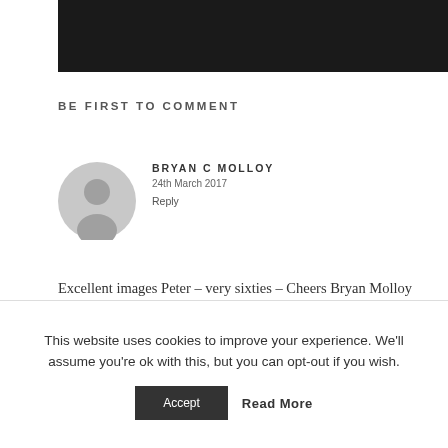[Figure (photo): Black bar at top of page, partial image crop]
BE FIRST TO COMMENT
[Figure (illustration): Grey avatar/user icon placeholder image]
BRYAN C MOLLOY
24th March 2017
Reply
Excellent images Peter – very sixties – Cheers Bryan Molloy
This website uses cookies to improve your experience. We'll assume you're ok with this, but you can opt-out if you wish.
Accept
Read More